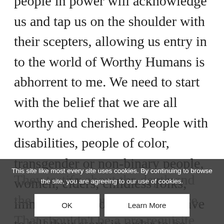people in power will acknowledge us and tap us on the shoulder with their scepters, allowing us entry in to the world of Worthy Humans is abhorrent to me. We need to start with the belief that we are all worthy and cherished. People with disabilities, people of color, transgender or non-binary people, women, elders, childless folks, immigrants – nobody should have to tell their story in order to be regarded as worthy of respect. Nobody should have to show their scars and bare their souls so that they can be deemed worthy of care and honor.
This site like most every site uses cookies. By continuing to browse the site, you are agreeing to our use of cookies.
They testify about the depth and the breadth of human experience. That shouldn't be a pre-requisite for civil rights, for love, for worthiness.